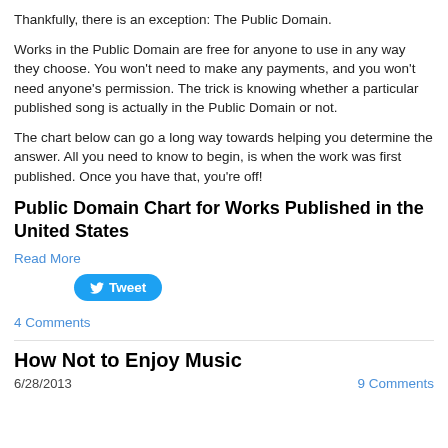Thankfully, there is an exception: The Public Domain.
Works in the Public Domain are free for anyone to use in any way they choose. You won't need to make any payments, and you won't need anyone's permission. The trick is knowing whether a particular published song is actually in the Public Domain or not.
The chart below can go a long way towards helping you determine the answer. All you need to know to begin, is when the work was first published. Once you have that, you're off!
Public Domain Chart for Works Published in the United States
Read More
Tweet
4 Comments
How Not to Enjoy Music
6/28/2013
9 Comments